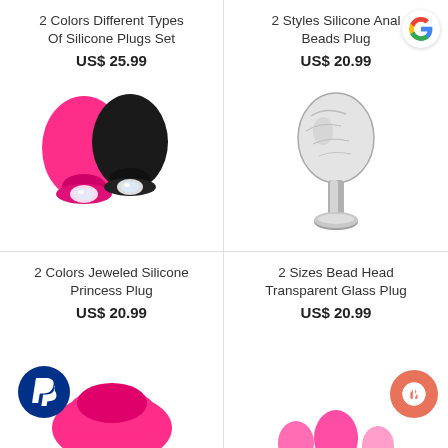2 Colors Different Types Of Silicone Plugs Set
US$ 25.99
[Figure (photo): Two silicone plugs, one pink and one black, each with a crystal gem base]
2 Styles Silicone Anal Beads Plug
US$ 20.99
[Figure (photo): Clear/transparent glass bead head plug, silver metallic stem and base]
2 Colors Jeweled Silicone Princess Plug
US$ 20.99
[Figure (photo): Bottom portion of pink/magenta silicone plug visible, PayPal circle badge overlay]
2 Sizes Bead Head Transparent Glass Plug
US$ 20.99
[Figure (photo): Bottom portion of pink anal beads visible, customer support circle badge overlay]